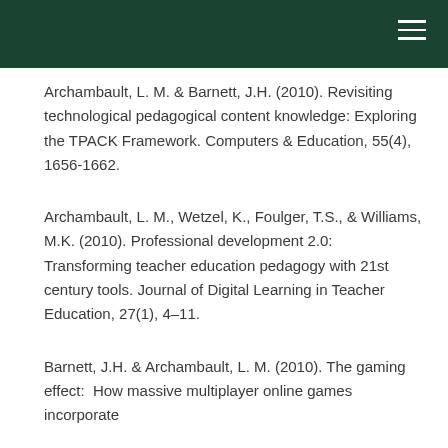Archambault, L. M. & Barnett, J.H. (2010). Revisiting technological pedagogical content knowledge: Exploring the TPACK Framework. Computers & Education, 55(4), 1656-1662.
Archambault, L. M., Wetzel, K., Foulger, T.S., & Williams, M.K. (2010). Professional development 2.0: Transforming teacher education pedagogy with 21st century tools. Journal of Digital Learning in Teacher Education, 27(1), 4–11.
Barnett, J.H. & Archambault, L. M. (2010). The gaming effect:  How massive multiplayer online games incorporate